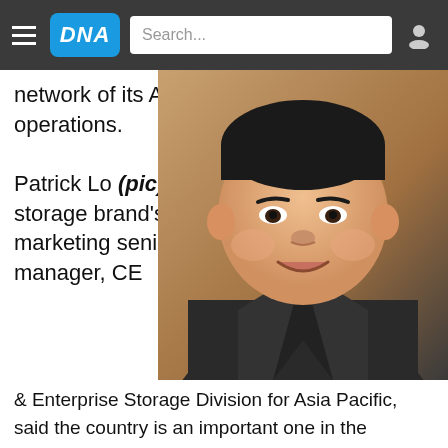DNA
network of its Asian operations.
[Figure (photo): Portrait photo of Patrick Lo, a man in a dark suit smiling, against a warm brown background]
Patrick Lo (pic), the storage brand's regional marketing senior manager, CE & Enterprise Storage Division for Asia Pacific, said the country is an important one in the regional enterprise market space.
With Malaysia's Muslim-dominant population, the country